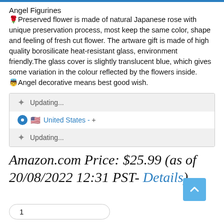Angel Figurines
🌹Preserved flower is made of natural Japanese rose with unique preservation process, most keep the same color, shape and feeling of fresh cut flower. The artware gift is made of high quality borosilicate heat-resistant glass, environment friendly.The glass cover is slightly translucent blue, which gives some variation in the colour reflected by the flowers inside.
👼Angel decorative means best good wish.
[Figure (screenshot): Shipping options UI widget showing two 'Updating...' rows with spinner icons and a United States option with radio button and flag]
Amazon.com Price: $25.99 (as of 20/08/2022 12:31 PST- Details)
1